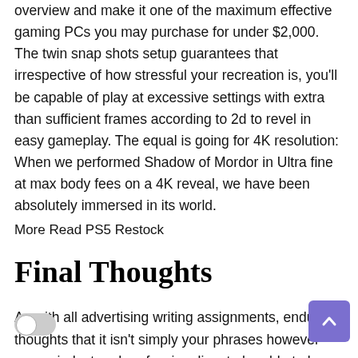overview and make it one of the maximum effective gaming PCs you may purchase for under $2,000. The twin snap shots setup guarantees that irrespective of how stressful your recreation is, you'll be capable of play at excessive settings with extra than sufficient frames according to 2d to revel in easy gameplay. The equal is going for 4K resolution: When we performed Shadow of Mordor in Ultra fine at max body fees on a 4K reveal, we have been absolutely immersed in its world.
More Read PS5 Restock
Final Thoughts
As with all advertising writing assignments, endure in thoughts that it isn't simply your phrases however your mindset and professionalism to be able to be